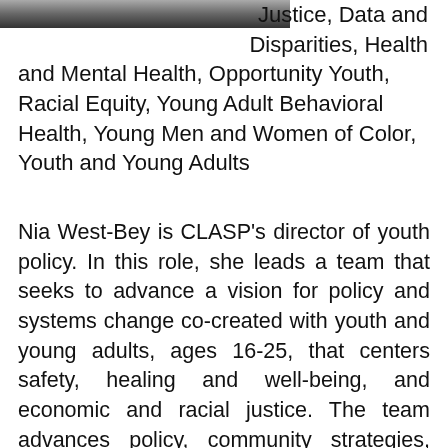[Figure (photo): Partial photo strip of a person at the top left of the page]
Justice, Data and Disparities, Health and Mental Health, Opportunity Youth, Racial Equity, Young Adult Behavioral Health, Young Men and Women of Color, Youth and Young Adults
Nia West-Bey is CLASP's director of youth policy. In this role, she leads a team that seeks to advance a vision for policy and systems change co-created with youth and young adults, ages 16-25, that centers safety, healing and well-being, and economic and racial justice. The team advances policy, community strategies, and investments that support economic mobility, community safety, equal access to quality health and mental health resources, and that dismantle structural barriers preventing youth of